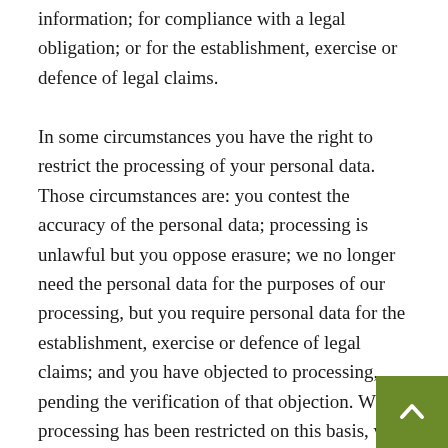information; for compliance with a legal obligation; or for the establishment, exercise or defence of legal claims.

In some circumstances you have the right to restrict the processing of your personal data. Those circumstances are: you contest the accuracy of the personal data; processing is unlawful but you oppose erasure; we no longer need the personal data for the purposes of our processing, but you require personal data for the establishment, exercise or defence of legal claims; and you have objected to processing, pending the verification of that objection. Where processing has been restricted on this basis, we may continue to store your personal data. However, we will only otherwise process it: with your consent; for the establishment, exercise or defence of legal claims; for the protection of the rights of another natural or legal person; or for reasons of important public interest.